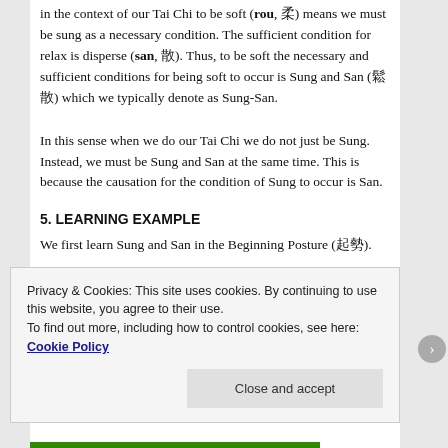in the context of our Tai Chi to be soft (rou, 柔) means we must be sung as a necessary condition. The sufficient condition for relax is disperse (san, 散). Thus, to be soft the necessary and sufficient conditions for being soft to occur is Sung and San (鬆散) which we typically denote as Sung-San.
In this sense when we do our Tai Chi we do not just be Sung. Instead, we must be Sung and San at the same time. This is because the causation for the condition of Sung to occur is San.
5. LEARNING EXAMPLE
We first learn Sung and San in the Beginning Posture (起勢).
Privacy & Cookies: This site uses cookies. By continuing to use this website, you agree to their use.
To find out more, including how to control cookies, see here: Cookie Policy